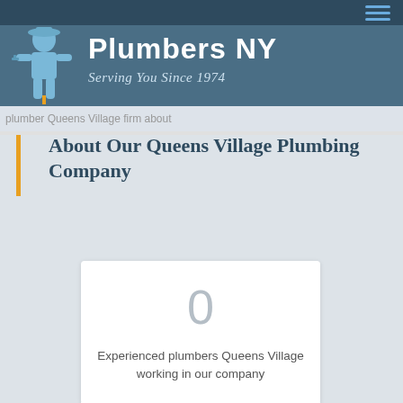Plumbers NY — Serving You Since 1974
[Figure (screenshot): plumber Queens Village firm about — ghost image alt text overlay]
About Our Queens Village Plumbing Company
0
Experienced plumbers Queens Village working in our company